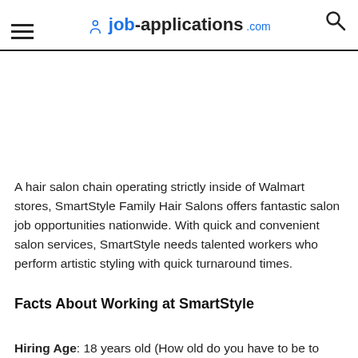job-applications.com
A hair salon chain operating strictly inside of Walmart stores, SmartStyle Family Hair Salons offers fantastic salon job opportunities nationwide. With quick and convenient salon services, SmartStyle needs talented workers who perform artistic styling with quick turnaround times.
Facts About Working at SmartStyle
Hiring Age: 18 years old (How old do you have to be to